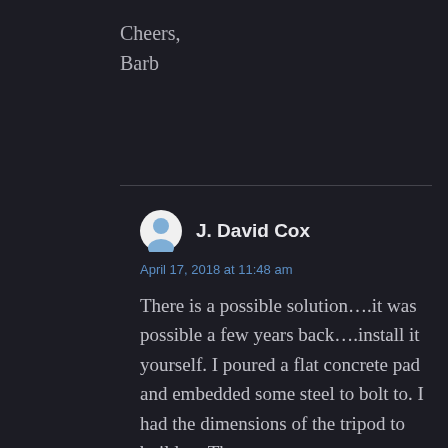Cheers,
Barb
J. David Cox
April 17, 2018 at 11:48 am
There is a possible solution….it was possible a few years back….install it yourself. I poured a flat concrete pad and embedded some steel to bolt to. I had the dimensions of the tripod to build to. Then